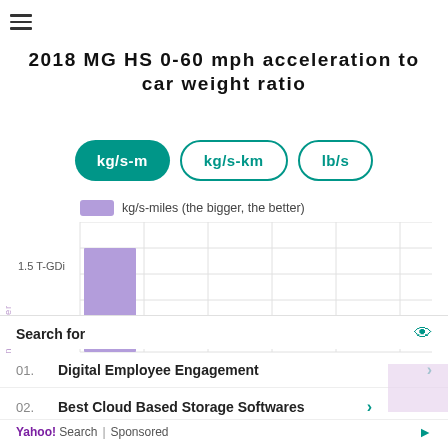2018 MG HS 0-60 mph acceleration to car weight ratio
[Figure (bar-chart): 2018 MG HS 0-60 mph acceleration to car weight ratio]
Search for
01.  Digital Employee Engagement
02.  Best Cloud Based Storage Softwares
Yahoo! Search | Sponsored